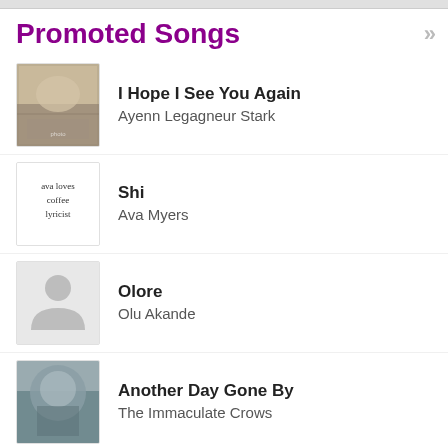Promoted Songs
I Hope I See You Again — Ayenn Legagneur Stark
Shi — Ava Myers
Olore — Olu Akande
Another Day Gone By — The Immaculate Crows
I Got Baby Fever! — Tina Knowledgeable Peden
Heme Aquí — Amalia Maldonado
Could This Be — Free Quincy